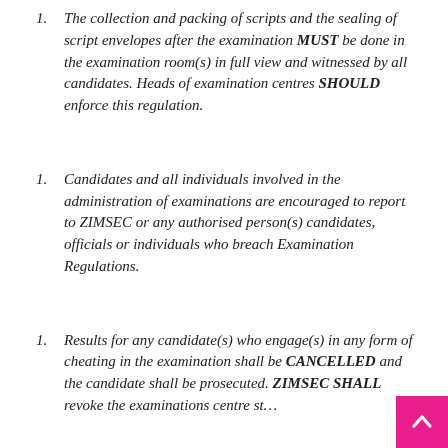The collection and packing of scripts and the sealing of script envelopes after the examination MUST be done in the examination room(s) in full view and witnessed by all candidates. Heads of examination centres SHOULD enforce this regulation.
Candidates and all individuals involved in the administration of examinations are encouraged to report to ZIMSEC or any authorised person(s) candidates, officials or individuals who breach Examination Regulations.
Results for any candidate(s) who engage(s) in any form of cheating in the examination shall be CANCELLED and the candidate shall be prosecuted. ZIMSEC SHALL revoke the examinations centre st... for centres that breach ZIMSEC Examination...